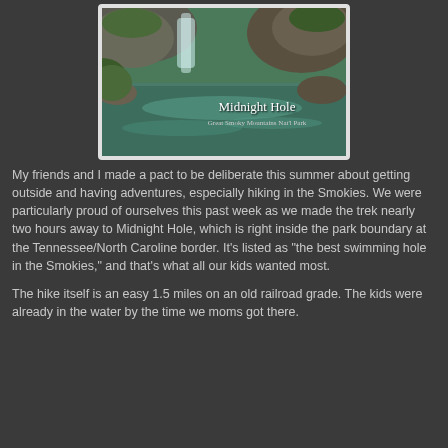[Figure (photo): Photo of Midnight Hole swimming hole at Great Smoky Mountains National Park, showing rocks, waterfall, and green water, with text overlay reading 'Midnight Hole' and 'Great Smoky Mountains Nat'l Park']
My friends and I made a pact to be deliberate this summer about getting outside and having adventures, especially hiking in the Smokies. We were particularly proud of ourselves this past week as we made the trek nearly two hours away to Midnight Hole, which is right inside the park boundary at the Tennessee/North Caroline border. It's listed as "the best swimming hole in the Smokies," and that's what all our kids wanted most.
The hike itself is an easy 1.5 miles on an old railroad grade. The kids were already in the water by the time we moms got there.